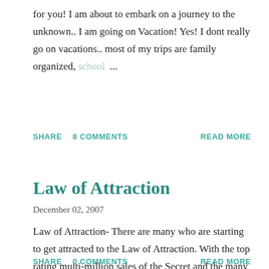for you! I am about to embark on a journey to the unknown.. I am going on Vacation! Yes! I dont really go on vacations.. most of my trips are family organized, school ...
SHARE   8 COMMENTS                                READ MORE
Law of Attraction
December 02, 2007
Law of Attraction- There are many who are starting to get attracted to the Law of Attraction. With the top rating multi-million sales of the Secret and the many Self- help seminars like the Landmark Forum. I want to share my ...
SHARE   0 COMMENTS                                READ MORE